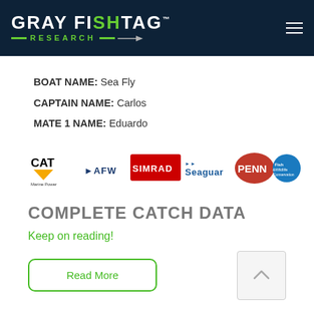GRAY FISHTAG RESEARCH
BOAT NAME: Sea Fly
CAPTAIN NAME: Carlos
MATE 1 NAME: Eduardo
[Figure (logo): Sponsor logos: CAT Marine Power, AFW, SIMRAD, Seaguar, PENN, Fish & Wildlife Conservation Commission]
COMPLETE CATCH DATA
Keep on reading!
Read More